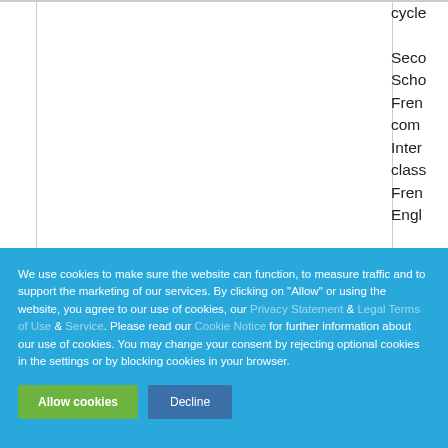| cycle |
| Seco |
| Scho |
| Fren |
| com |
| Inter |
| class |
| Fren |
| Engl |
We use cookies to make sure the website can function, to measure traffic and to support the marketing of our services. By clicking on "Allow" or using the website, you agree to our use of cookies, our Privacy Statement & Legal Terms of Use & Service. Please read our Cookie Notice for further information about our use of cookies. You may change your consent by rejecting optional cookies in the settings or by blocking cookies in your browser.